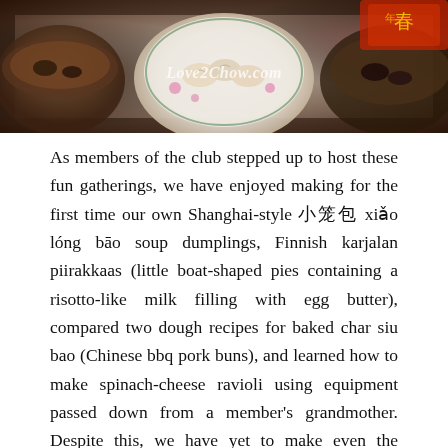[Figure (photo): Photograph of food dishes including soup dumplings and other dim sum dishes, with a watermark reading Love2Chow.com]
As members of the club stepped up to host these fun gatherings, we have enjoyed making for the first time our own Shanghai-style 小笼包 xiǎo lóng bāo soup dumplings, Finnish karjalan piirakkaas (little boat-shaped pies containing a risotto-like milk filling with egg butter), compared two dough recipes for baked char siu bao (Chinese bbq pork buns), and learned how to make spinach-cheese ravioli using equipment passed down from a member's grandmother. Despite this, we have yet to make even the slightest dent in the list of dim sum style